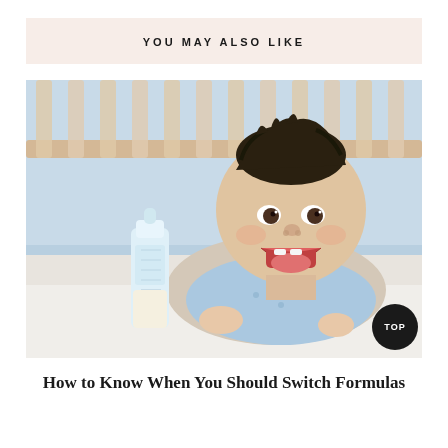YOU MAY ALSO LIKE
[Figure (photo): A smiling baby lying on a white surface in front of a wooden crib, with a baby bottle with milk in the foreground. The baby is wearing a light blue patterned outfit.]
How to Know When You Should Switch Formulas